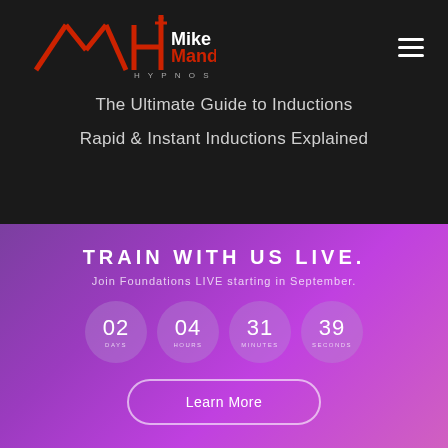[Figure (logo): Mike Mandel Hypnosis logo with stylized MH letters and CN Tower in red/white on dark background]
The Ultimate Guide to Inductions
Rapid & Instant Inductions Explained
TRAIN WITH US LIVE.
Join Foundations LIVE starting in September.
02 DAYS  04 HOURS  31 MINUTES  39 SECONDS
Learn More